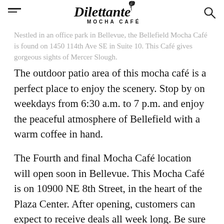Dilettante Mocha Café (logo)
Nestled in an office park in Bellevue, the Bellefield Mocha Café is found on 1450 114th Ave SE in Suite 10. This Café gives gorgeous sights of Mercer Slough.
The outdoor patio area of this mocha café is a perfect place to enjoy the scenery. Stop by on weekdays from 6:30 a.m. to 7 p.m. and enjoy the peaceful atmosphere of Bellefield with a warm coffee in hand.
The Fourth and final Mocha Café location will open soon in Bellevue. This Mocha Café is on 10900 NE 8th Street, in the heart of the Plaza Center. After opening, customers can expect to receive deals all week long. Be sure to check back for more updates on this upcoming mocha café